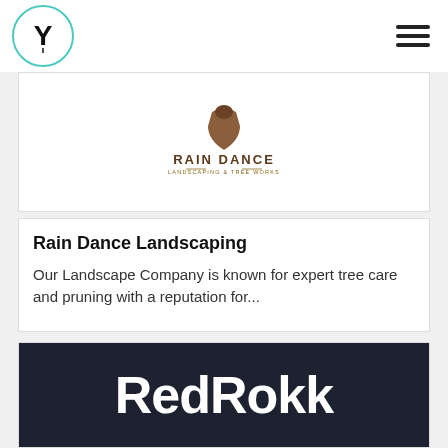Y logo and hamburger menu
[Figure (logo): Rain Dance Landscaping & Tree Works logo with brown shield/acorn icon and stylized text]
Rain Dance Landscaping
Our Landscape Company is known for expert tree care and pruning with a reputation for...
[Figure (logo): RedRokk logo — white bold sans-serif text on dark navy background]